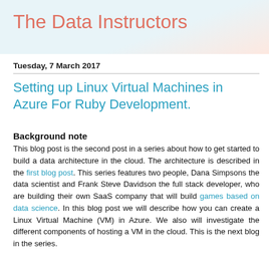The Data Instructors
Tuesday, 7 March 2017
Setting up Linux Virtual Machines in Azure For Ruby Development.
Background note
This blog post is the second post in a series about how to get started to build a data architecture in the cloud. The architecture is described in the first blog post. This series features two people, Dana Simpsons the data scientist and Frank Steve Davidson the full stack developer, who are building their own SaaS company that will build games based on data science. In this blog post we will describe how you can create a Linux Virtual Machine (VM) in Azure. We also will investigate the different components of hosting a VM in the cloud. This is the next blog in the series.